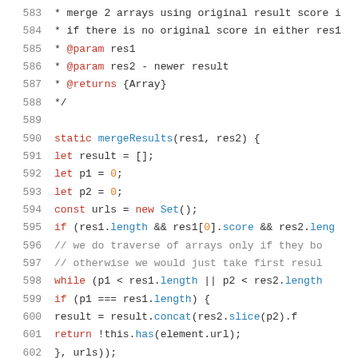[Figure (screenshot): Source code viewer showing JavaScript lines 583-604. Lines contain JSDoc comment block and a static mergeResults method with let/const declarations, if/while/break control flow, and array operations using concat, slice, filter methods.]